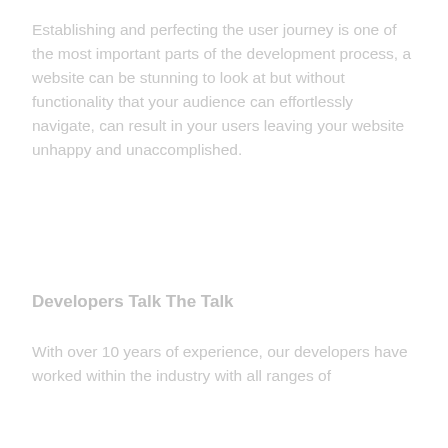Establishing and perfecting the user journey is one of the most important parts of the development process, a website can be stunning to look at but without functionality that your audience can effortlessly navigate, can result in your users leaving your website unhappy and unaccomplished.
Developers Talk The Talk
With over 10 years of experience, our developers have worked within the industry with all ranges of